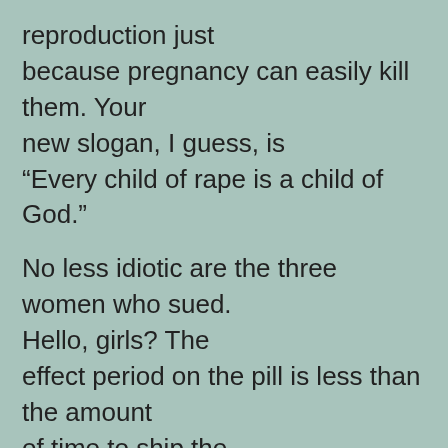reproduction just because pregnancy can easily kill them. Your new slogan, I guess, is “Every child of rape is a child of God.”

No less idiotic are the three women who sued. Hello, girls? The effect period on the pill is less than the amount of time to ship the little suckers from Canada. Order on-line and save. Better yet, show a little forethought: buy in advance from some local pharmacy that wants the business Wal-Mart isn’t getting, and